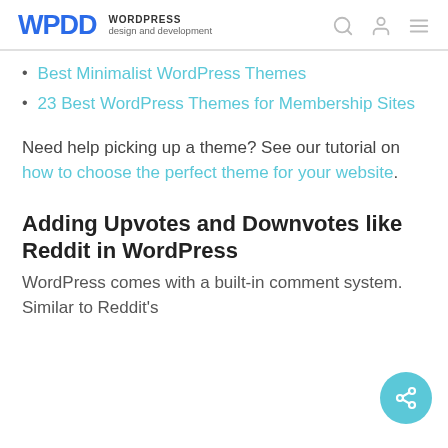WPDD WORDPRESS design and development
Best Minimalist WordPress Themes
23 Best WordPress Themes for Membership Sites
Need help picking up a theme? See our tutorial on how to choose the perfect theme for your website.
Adding Upvotes and Downvotes like Reddit in WordPress
WordPress comes with a built-in comment system. Similar to Reddit's